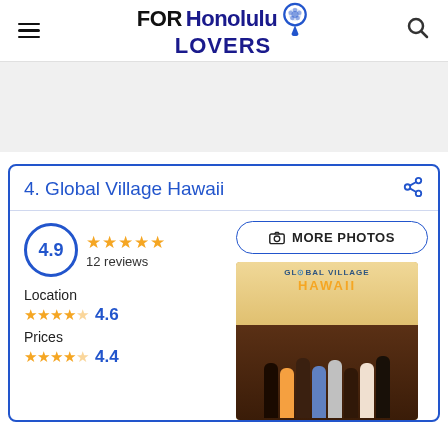[Figure (logo): FOR Honolulu LOVERS logo with map pin icon]
[Figure (other): Advertisement/banner space (gray area)]
4. Global Village Hawaii
4.9 rating, 12 reviews, 5 gold stars
Location 4.6 (4.5 stars)
Prices 4.4 (4 stars)
[Figure (photo): Group photo of people at Global Village Hawaii venue with logo on wall]